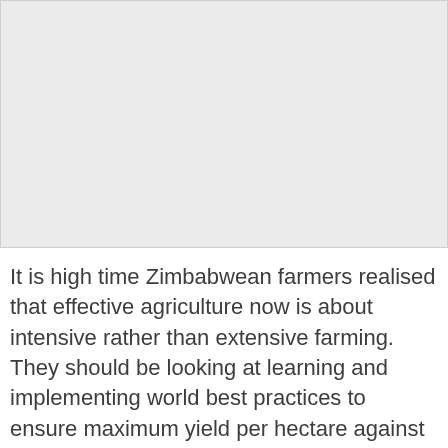[Figure (photo): A light gray rectangular placeholder image occupying the upper portion of the page.]
It is high time Zimbabwean farmers realised that effective agriculture now is about intensive rather than extensive farming. They should be looking at learning and implementing world best practices to ensure maximum yield per hectare against increasing hectarage to get higher yields.